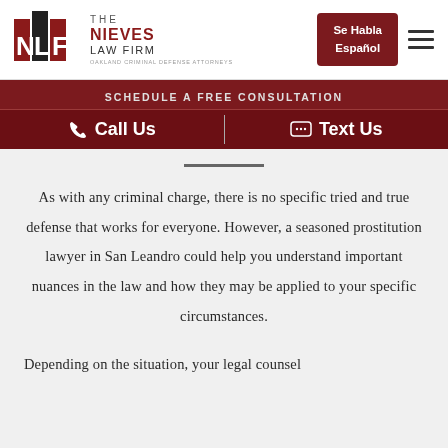[Figure (logo): The Nieves Law Firm logo with NLF monogram and text 'OAKLAND CRIMINAL DEFENSE ATTORNEYS']
Se Habla Español
SCHEDULE A FREE CONSULTATION
Call Us   Text Us
As with any criminal charge, there is no specific tried and true defense that works for everyone. However, a seasoned prostitution lawyer in San Leandro could help you understand important nuances in the law and how they may be applied to your specific circumstances.
Depending on the situation, your legal counsel